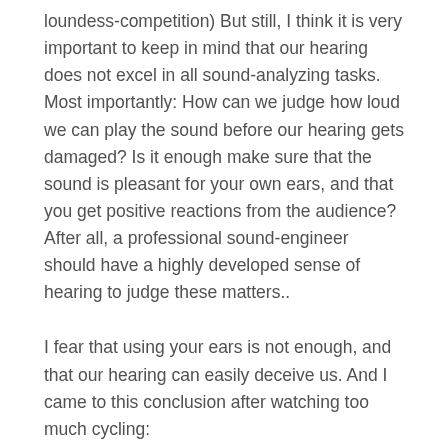(…) But still, I think it is very important to keep in mind that our hearing does not excel in all sound-analyzing tasks. Most importantly: How can we judge how loud we can play the sound before our hearing gets damaged? Is it enough make sure that the sound is pleasant for your own ears, and that you get positive reactions from the audience? After all, a professional sound-engineer should have a highly developed sense of hearing to judge these matters..
I fear that using your ears is not enough, and that our hearing can easily deceive us. And I came to this conclusion after watching too much cycling: